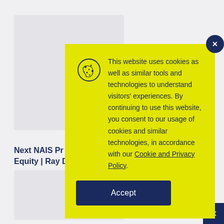Next NAIS Pr... Equity | Ray D...
[Figure (screenshot): Cookie consent popup modal with yellow background. Contains a cookie icon, consent text about cookies and similar technologies, a link to Cookie and Privacy Policy, and an Accept button. A dark navy close button (x) is shown in the top-right corner of the modal.]